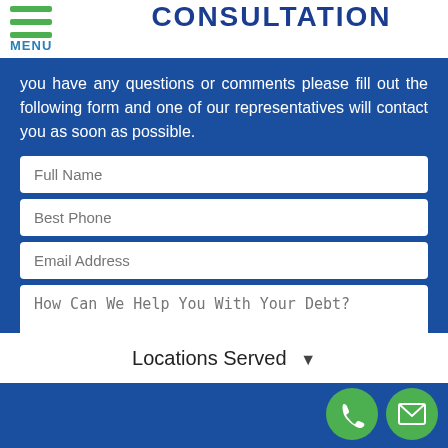MENU
CONSULTATION
you have any questions or comments please fill out the following form and one of our representatives will contact you as soon as possible.
[Figure (screenshot): Contact form with fields: Full Name, Best Phone, Email Address, How Can We Help You With Your Debt?, and a green SUBMIT MY REQUEST button]
Locations Served
Footer bar with phone and email contact icons